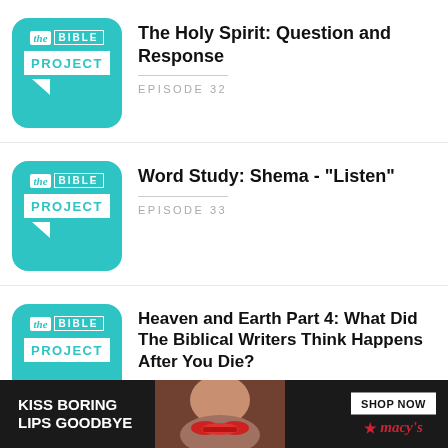[Figure (logo): The Bible Project logo - teal/cyan square with rounded corners, containing 'the | BIBLE' text and 'PROJECT' bar with speech bubble tail]
The Holy Spirit: Question and Response
EPISODE 32
[Figure (logo): The Bible Project logo - teal/cyan square with rounded corners]
Word Study: Shema - "Listen"
EPISODE 33
[Figure (logo): The Bible Project logo - teal/cyan square with rounded corners, partially visible]
Heaven and Earth Part 4: What Did The Biblical Writers Think Happens After You Die?
[Figure (infographic): Macy's advertisement banner: 'KISS BORING LIPS GOODBYE' with woman's face photo and 'SHOP NOW' button with Macy's star logo]